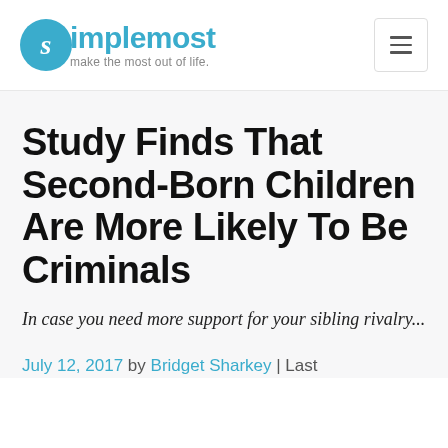simplemost — make the most out of life.
Study Finds That Second-Born Children Are More Likely To Be Criminals
In case you need more support for your sibling rivalry...
July 12, 2017 by Bridget Sharkey | Last